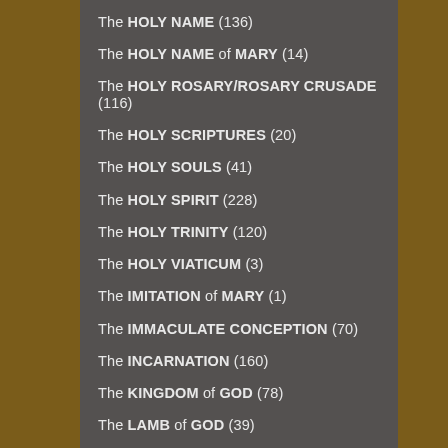The HOLY NAME (136)
The HOLY NAME of MARY (14)
The HOLY ROSARY/ROSARY CRUSADE (116)
The HOLY SCRIPTURES (20)
The HOLY SOULS (41)
The HOLY SPIRIT (228)
The HOLY TRINITY (120)
The HOLY VIATICUM (3)
The IMITATION of MARY (1)
The IMMACULATE CONCEPTION (70)
The INCARNATION (160)
The KINGDOM of GOD (78)
The LAMB of GOD (39)